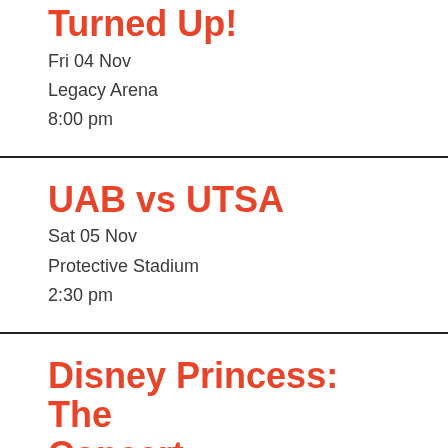Turned Up!
Fri 04 Nov
Legacy Arena
8:00 pm
UAB vs UTSA
Sat 05 Nov
Protective Stadium
2:30 pm
Disney Princess: The Concert
Sat 05 Nov